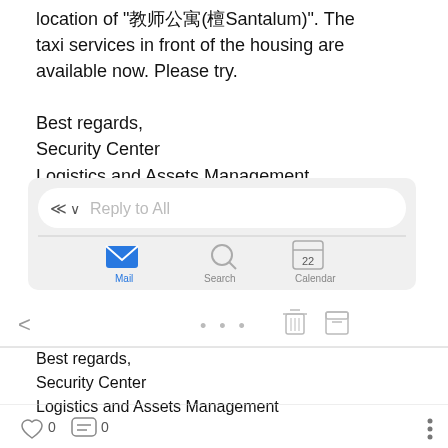location of "教师公寓(檀Santalum)". The taxi services in front of the housing are available now. Please try.

Best regards,
Security Center
Logistics and Assets Management
[Figure (screenshot): iOS Mail app reply toolbar showing Reply to All input field with mail, search, and calendar icons at bottom]
[Figure (screenshot): Email client toolbar with back arrow, ellipsis menu, trash and archive icons, followed by email body text]
Best regards,
Security Center
Logistics and Assets Management
[Figure (screenshot): Bottom social bar with heart icon (0 likes), comment icon (0 comments), and vertical three-dots menu]